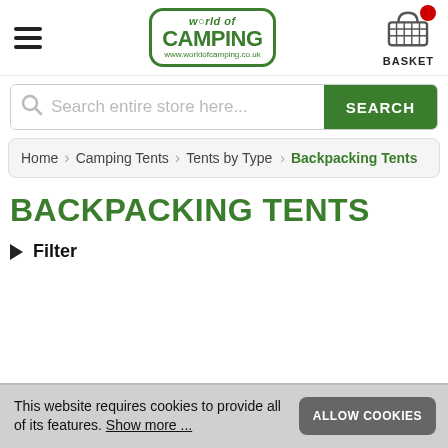World of Camping — header with logo, hamburger menu, and basket
Search entire store here...
Home > Camping Tents > Tents by Type > Backpacking Tents
BACKPACKING TENTS
▶ Filter
This website requires cookies to provide all of its features. Show more ...  ALLOW COOKIES